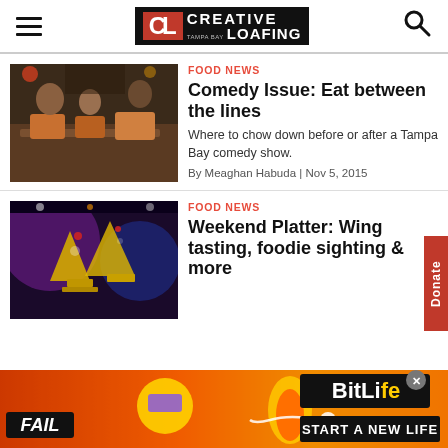Creative Loafing Tampa Bay
FOOD NEWS
Comedy Issue: Eat between the lines
Where to chow down before or after a Tampa Bay comedy show.
By Meaghan Habuda | Nov 5, 2015
FOOD NEWS
Weekend Platter: Wing tasting, foodie sighting & more
[Figure (photo): People dining at a restaurant, food on the table]
[Figure (photo): Colorful drinks and cocktails at a bar]
[Figure (advertisement): BitLife mobile game ad with FAIL badge and START A NEW LIFE text]